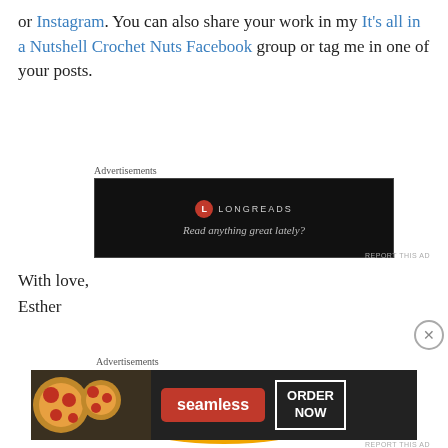or Instagram. You can also share your work in my It's all in a Nutshell Crochet Nuts Facebook group or tag me in one of your posts.
[Figure (screenshot): Longreads advertisement banner with black background, red circular logo, text 'LONGREADS' and tagline 'Read anything great lately?']
With love,
Esther
[Figure (logo): It's all in a nutshell crochet logo with squirrels and acorn illustration on yellow/orange ground]
[Figure (screenshot): Seamless food delivery advertisement with pizza image, red Seamless logo button, and ORDER NOW white bordered button on dark background]